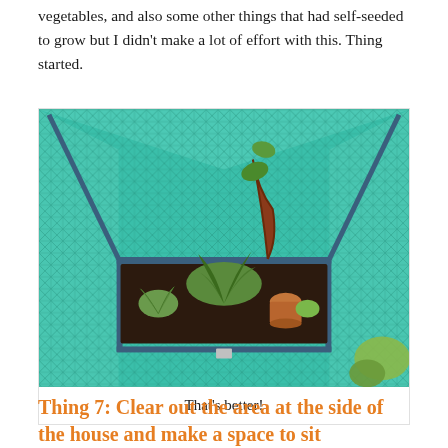vegetables, and also some other things that had self-seeded to grow but I didn't make a lot of effort with this. Thing started.
[Figure (photo): A raised garden bed inside a green mesh/net greenhouse frame. The bed contains kale, herbs, and other plants growing in dark soil, with a small terracotta pot visible.]
That's better!
Thing 7: Clear out the area at the side of the house and make a space to sit